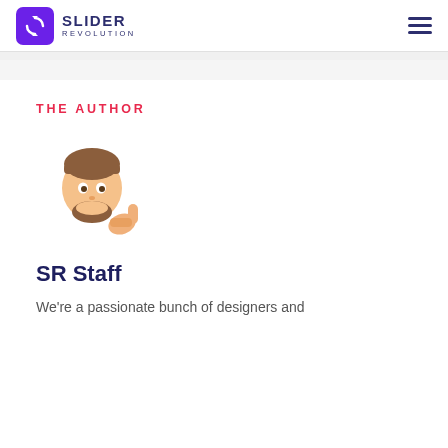SLIDER REVOLUTION
THE AUTHOR
[Figure (illustration): Cartoon emoji-style avatar of a bearded man giving a thumbs up]
SR Staff
We're a passionate bunch of designers and